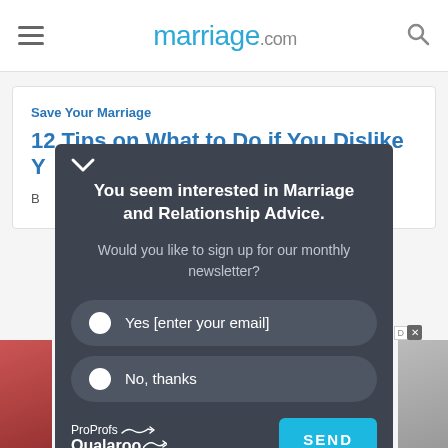marriage.com
Save Your Marriage
12 Tips on What to Do if You Dislike Y...
B...
[Figure (screenshot): Qualaroo newsletter sign-up modal overlay on marriage.com website. Modal contains heading 'You seem interested in Marriage and Relationship Advice.', subtext 'Would you like to sign up for our monthly newsletter?', two radio button options 'Yes [enter your email]' and 'No, thanks', ProProfs Qualaroo branding, and a SEND button.]
ProProfs Qualaroo newsletter opt-in popup on marriage.com